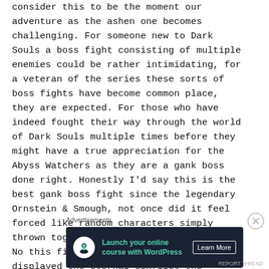consider this to be the moment our adventure as the ashen one becomes challenging. For someone new to Dark Souls a boss fight consisting of multiple enemies could be rather intimidating, for a veteran of the series these sorts of boss fights have become common place, they are expected. For those who have indeed fought their way through the world of Dark Souls multiple times before they might have a true appreciation for the Abyss Watchers as they are a gank boss done right. Honestly I'd say this is the best gank boss fight since the legendary Ornstein & Smough, not once did it feel forced like random characters simply thrown together to make a 'boss' fight. No this fight had meaning, this fight displayed the eternal conflict the Watchers have amongst
Advertisements
[Figure (infographic): Dark background advertisement banner for WordPress online course. Shows a white circle icon with a person/tree silhouette, teal text 'Launch your online course with WordPress', and a white bordered 'Learn More' button.]